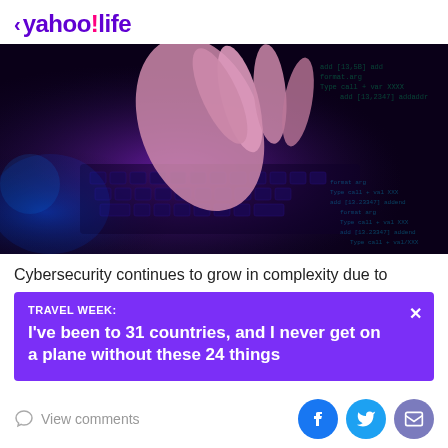< yahoo!life
[Figure (photo): Close-up photo of hands typing on a keyboard with code/text overlay in purple and blue lighting, hacker/cybersecurity theme]
Cybersecurity continues to grow in complexity due to
TRAVEL WEEK:
I've been to 31 countries, and I never get on a plane without these 24 things
View comments